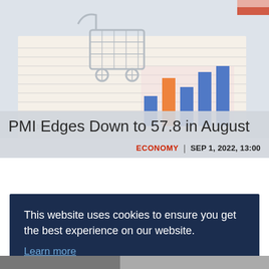[Figure (photo): Shopping cart on top of financial charts and documents with bar graphs visible]
PMI Edges Down to 57.8 in August
ECONOMY | SEP 1, 2022, 13:00
This website uses cookies to ensure you get the best experience on our website. Learn more
Decline   Allow cookies
[Figure (photo): Black and white photograph partially visible at the bottom of the page]